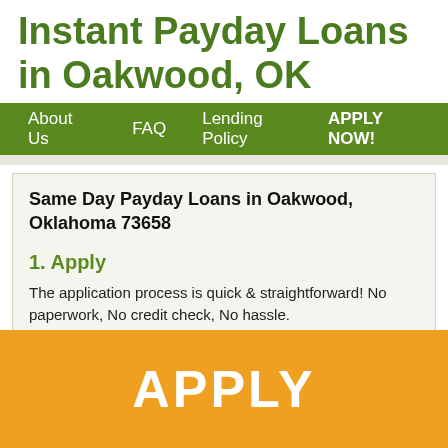Instant Payday Loans in Oakwood, OK
About Us   FAQ   Lending Policy   APPLY NOW!
Same Day Payday Loans in Oakwood, Oklahoma 73658
1. Apply
The application process is quick & straightforward! No paperwork, No credit check, No hassle.
2. Approved
You will get the approval online in 1 hour. Find out if you've been
[Figure (other): Orange APPLY button banner at the bottom of the page]